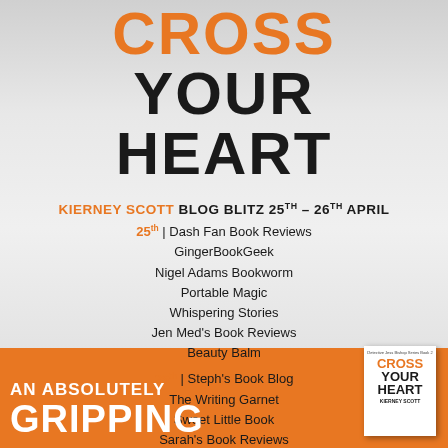CROSS YOUR HEART
KIERNEY SCOTT BLOG BLITZ 25TH – 26TH APRIL
25th | Dash Fan Book Reviews
GingerBookGeek
Nigel Adams Bookworm
Portable Magic
Whispering Stories
Jen Med's Book Reviews
Beauty Balm
26th | Steph's Book Blog
The Writing Garnet
Sweet Little Book
Sarah's Book Reviews
Stardust Book Reviews
Two Girls and a Book Obsession
BrizzleLass Books
AN ABSOLUTELY GRIPPING
[Figure (illustration): Book cover of Cross Your Heart by Kierney Scott]